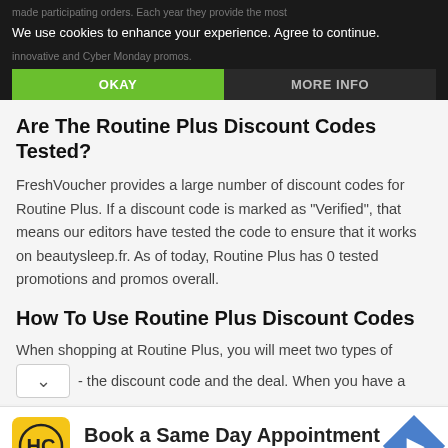We use cookies to enhance your experience. Agree to continue.
Are The Routine Plus Discount Codes Tested?
FreshVoucher provides a large number of discount codes for Routine Plus. If a discount code is marked as "Verified", that means our editors have tested the code to ensure that it works on beautysleep.fr. As of today, Routine Plus has 0 tested promotions and promos overall.
How To Use Routine Plus Discount Codes
When shopping at Routine Plus, you will meet two types of - the discount code and the deal. When you have a
[Figure (other): Advertisement banner for Hair Cuttery: Book a Same Day Appointment]